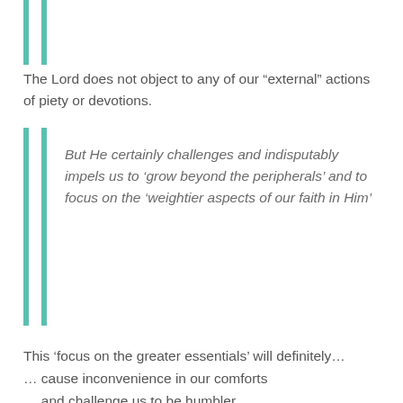The Lord does not object to any of our “external” actions of piety or devotions.
But He certainly challenges and indisputably impels us to ‘grow beyond the peripherals’ and to focus on the ‘weightier aspects of our faith in Him’
This ‘focus on the greater essentials’ will definitely…
… cause inconvenience in our comforts
… and challenge us to be humbler